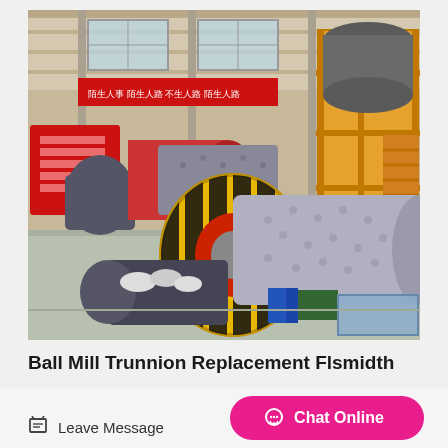[Figure (photo): Industrial ball mill equipment inside a large manufacturing warehouse. Shows two large cylindrical ball mills with yellow and black striped gear wheels, heavy machinery, yellow steel framework structure in background, red safety signs with Chinese text on left wall, and various industrial components.]
Ball Mill Trunnion Replacement Flsmidth
Leave Message
Chat Online